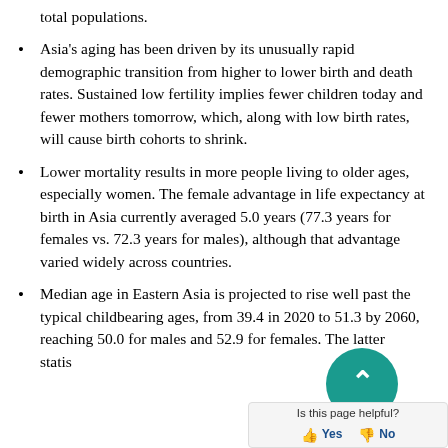total populations.
Asia's aging has been driven by its unusually rapid demographic transition from higher to lower birth and death rates. Sustained low fertility implies fewer children today and fewer mothers tomorrow, which, along with low birth rates, will cause birth cohorts to shrink.
Lower mortality results in more people living to older ages, especially women. The female advantage in life expectancy at birth in Asia currently averaged 5.0 years (77.3 years for females vs. 72.3 years for males), although that advantage varied widely across countries.
Median age in Eastern Asia is projected to rise well past the typical childbearing ages, from 39.4 in 2020 to 51.3 by 2060, reaching 50.0 for males and 52.9 for females. The latter statistic is noteworthy because more than c...